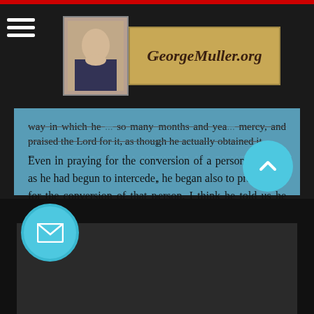[Figure (logo): GeorgeMuller.org website logo with portrait of George Muller and text banner]
way in which he... so many months and yea... mercy, and praised the Lord for it, as though he actually obtained it.
Even in praying for the conversion of a person, as soon as he had begun to intercede, he began also to praise God for the conversion of that person. I think he told us he had in one instance he had already prayed for thirty years and the work was not yet done, yet all the while he had gone on thanking God, because he knew the prayer would be answered."~ C.H. Spurgeon